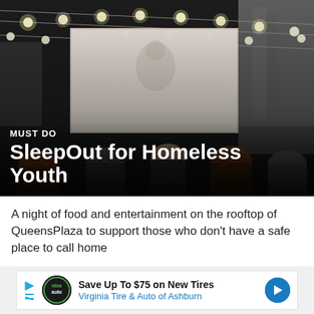[Figure (photo): Outdoor rooftop event at night with string lights and a projection screen, people seated watching the screen]
MUST DO
SleepOut for Homeless Youth
A night of food and entertainment on the rooftop of QueensPlaza to support those who don't have a safe place to call home
READ MORE
[Figure (photo): Blurred outdoor daytime background image]
[Figure (infographic): Advertisement banner: Save Up To $75 on New Tires — Virginia Tire & Auto of Ashburn, with Idea Auto logo]